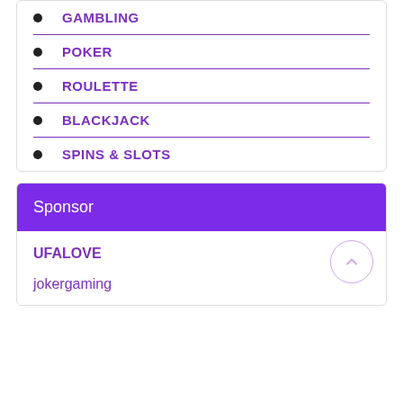GAMBLING
POKER
ROULETTE
BLACKJACK
SPINS & SLOTS
Sponsor
UFALOVE
jokergaming